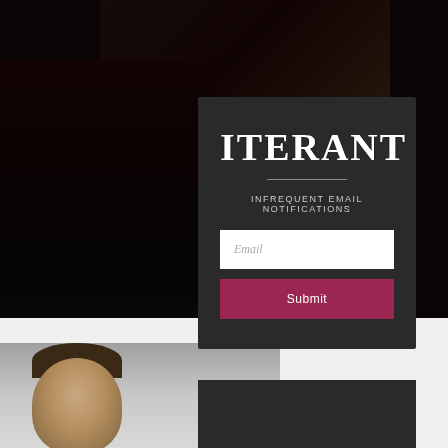[Figure (screenshot): Website modal popup overlay on a dark background with a person photo visible behind. Modal contains the ITERANT logo, a subtitle, an email input field, and a Submit button.]
ITERANT
INFREQUENT EMAIL NOTIFICATIONS
Email
Submit